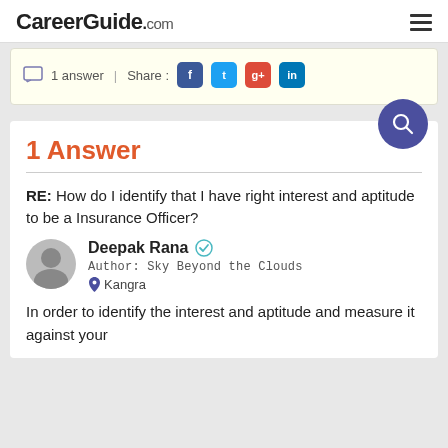CareerGuide.com
[Figure (screenshot): Share bar with 1 answer | Share : Facebook, Twitter, Google+, LinkedIn icons on a cream background]
1 Answer
RE: How do I identify that I have right interest and aptitude to be a Insurance Officer?
Deepak Rana — Author: Sky Beyond the Clouds — Kangra
In order to identify the interest and aptitude and measure it against your